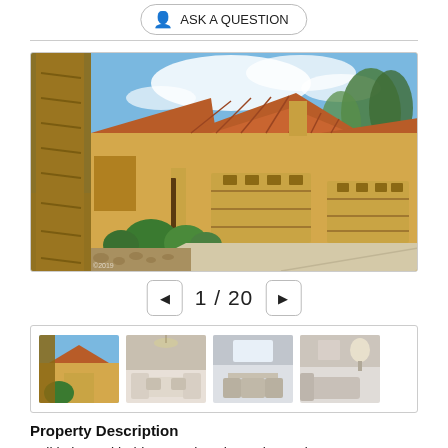ASK A QUESTION
[Figure (photo): Exterior photo of a single-story Southwest-style home with terracotta tile roof, tan stucco walls, three-car garage, green shrubs, palm tree in foreground, and blue sky with clouds.]
1 / 20
[Figure (photo): Grid of four property thumbnail photos: exterior of home, living room interior with light furnishings, dining/kitchen area, and a second living space.]
Property Description
Fall in love with this marvelous home located on a great corner lot of a